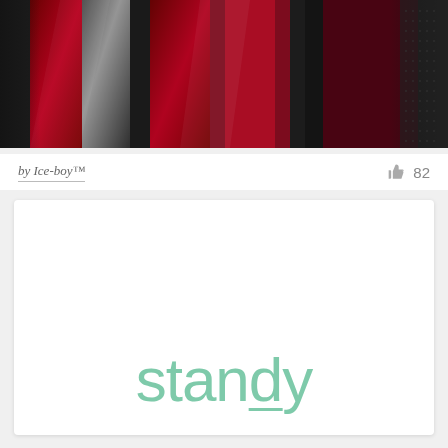[Figure (photo): Abstract dark background with vertical stripes in black, grey, and deep crimson/red colors, with a shiny fabric or metallic texture.]
by Ice-boy™
82
[Figure (logo): White card with the word 'standy' in teal/mint green lowercase letters. The letter 'd' has an underline beneath it.]